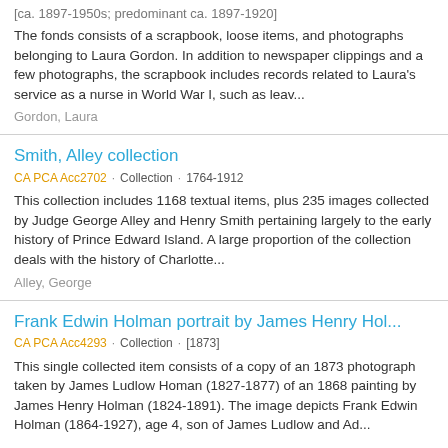[ca. 1897-1950s; predominant ca. 1897-1920]
The fonds consists of a scrapbook, loose items, and photographs belonging to Laura Gordon. In addition to newspaper clippings and a few photographs, the scrapbook includes records related to Laura's service as a nurse in World War I, such as leav...
Gordon, Laura
Smith, Alley collection
CA PCA Acc2702 · Collection · 1764-1912
This collection includes 1168 textual items, plus 235 images collected by Judge George Alley and Henry Smith pertaining largely to the early history of Prince Edward Island. A large proportion of the collection deals with the history of Charlotte...
Alley, George
Frank Edwin Holman portrait by James Henry Hol...
CA PCA Acc4293 · Collection · [1873]
This single collected item consists of a copy of an 1873 photograph taken by James Ludlow Homan (1827-1877) of an 1868 painting by James Henry Holman (1824-1891). The image depicts Frank Edwin Holman (1864-1927), age 4, son of James Ludlow and Ad...